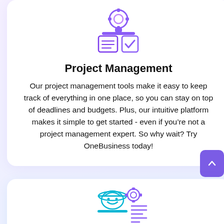[Figure (illustration): Purple outline icon of a project management concept: a person head with gear, document with lines, and a checkmark on clipboard]
Project Management
Our project management tools make it easy to keep track of everything in one place, so you can stay on top of deadlines and budgets. Plus, our intuitive platform makes it simple to get started - even if you're not a project management expert. So why wait? Try OneBusiness today!
[Figure (illustration): Teal/cyan outline icon of a worker with hard hat and gear, smiling, with document lines — partially visible at bottom of page]